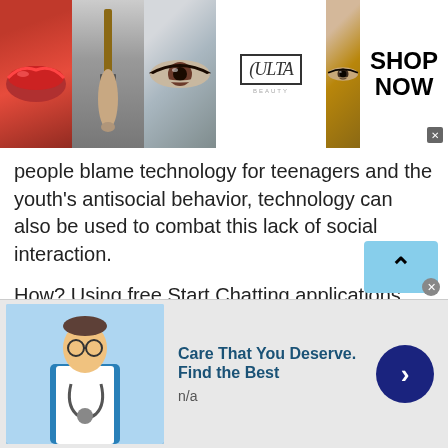[Figure (screenshot): Ulta Beauty advertisement banner with makeup images (lips, brush, eye), Ulta logo, and 'SHOP NOW' button]
people blame technology for teenagers and the youth's antisocial behavior, technology can also be used to combat this lack of social interaction.

How? Using free Start Chatting applications can help teens and the youth, or in fact anyone who struggles with social interactions to build better communication and social skills. Anonymously chatting with strangers can help you interact without the fear of being judged which helps build stronger social skills that are necessary in today's world. This means by interacting on a digital
[Figure (screenshot): Bottom advertisement: 'Care That You Deserve. Find the Best' with doctor image and navigation arrow]